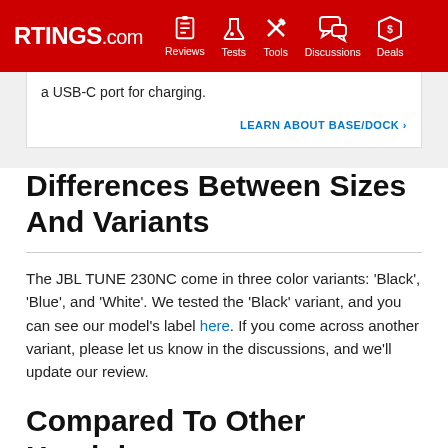RTINGS.com — Reviews | Tests | Tools | Discussions | Deals
a USB-C port for charging.
LEARN ABOUT BASE/DOCK
Differences Between Sizes And Variants
The JBL TUNE 230NC come in three color variants: 'Black', 'Blue', and 'White'. We tested the 'Black' variant, and you can see our model's label here. If you come across another variant, please let us know in the discussions, and we'll update our review.
Compared To Other Headphones